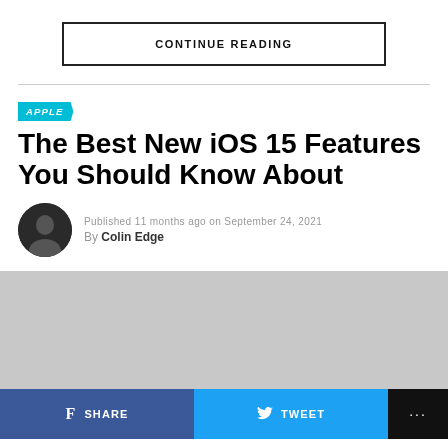CONTINUE READING
APPLE
The Best New iOS 15 Features You Should Know About
Published 11 months ago on September 24, 2021
By Colin Edge
[Figure (photo): Gray placeholder image block]
SHARE  TWEET  ...